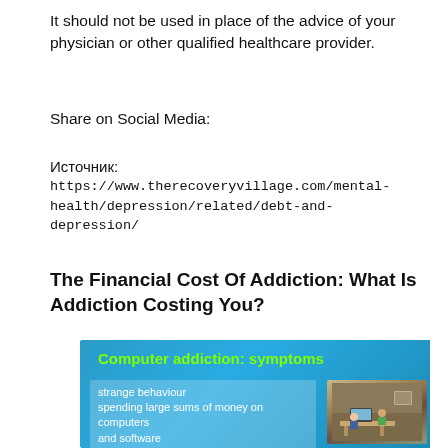It should not be used in place of the advice of your physician or other qualified healthcare provider.
Share on Social Media:
Источник:
https://www.therecoveryvillage.com/mental-health/depression/related/debt-and-depression/
The Financial Cost Of Addiction: What Is Addiction Costing You?
[Figure (infographic): Infographic about computer addiction symptoms on a blue background, listing: strange behaviour, spending large sums of money on computers and software, mental health problems, Neglecting school or family obligations. A photo of people using computers is shown on the right.]